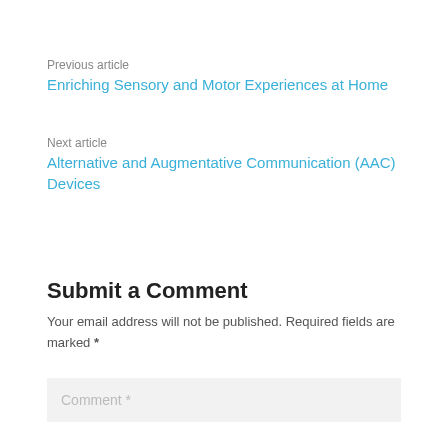Previous article
Enriching Sensory and Motor Experiences at Home
Next article
Alternative and Augmentative Communication (AAC) Devices
Submit a Comment
Your email address will not be published. Required fields are marked *
Comment *